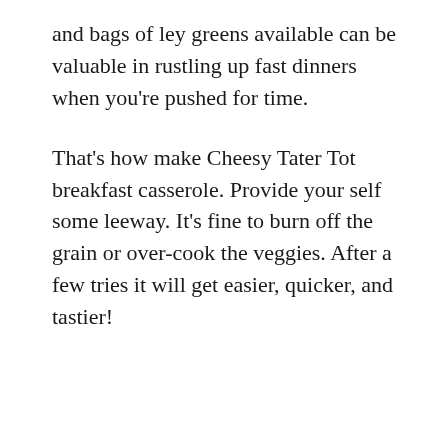and bags of ley greens available can be valuable in rustling up fast dinners when you're pushed for time.
That's how make Cheesy Tater Tot breakfast casserole. Provide your self some leeway. It's fine to burn off the grain or over-cook the veggies. After a few tries it will get easier, quicker, and tastier!